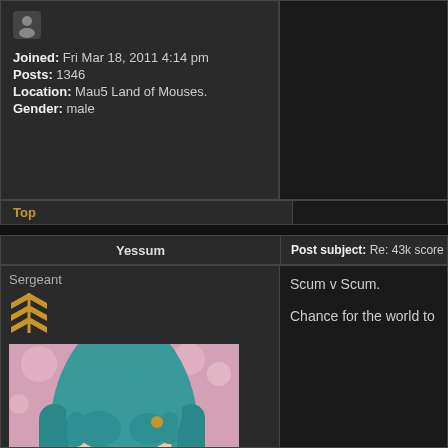Joined: Fri Mar 18, 2011 4:14 pm
Posts: 1346
Location: Mau5 Land of Mouses.
Gender: male
Top
Yessum
Post subject: Re: 43k score g
Sergeant
[Figure (illustration): Anime girl with long teal/blue hair wearing a red outfit, cherry blossoms in background]
Scum v Scum.

Chance for the world to